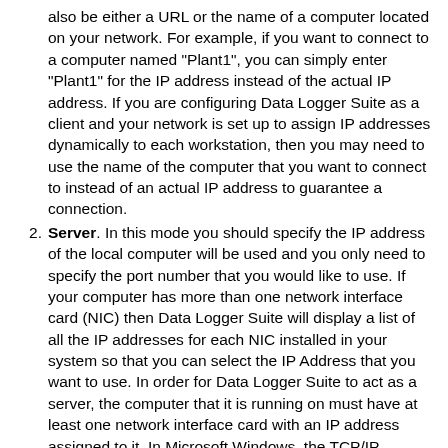also be either a URL or the name of a computer located on your network. For example, if you want to connect to a computer named "Plant1", you can simply enter "Plant1" for the IP address instead of the actual IP address. If you are configuring Data Logger Suite as a client and your network is set up to assign IP addresses dynamically to each workstation, then you may need to use the name of the computer that you want to connect to instead of an actual IP address to guarantee a connection.
Server. In this mode you should specify the IP address of the local computer will be used and you only need to specify the port number that you would like to use. If your computer has more than one network interface card (NIC) then Data Logger Suite will display a list of all the IP addresses for each NIC installed in your system so that you can select the IP Address that you want to use. In order for Data Logger Suite to act as a server, the computer that it is running on must have at least one network interface card with an IP address assigned to it. In Microsoft Windows, the TCP/IP protocol can be configured to automatically obtain an IP address from a host computer. It means that your computer may not have an IP address until it is connected to a network server or a host computer. You may need to contact your network administrator to assign an IP address to your